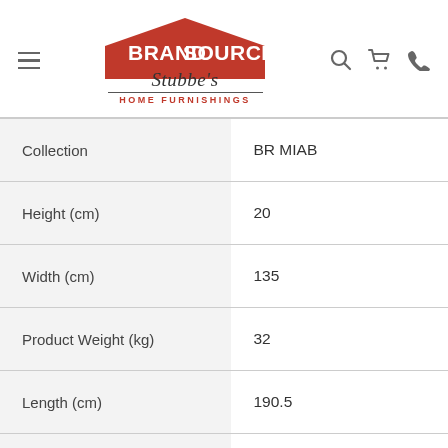[Figure (logo): BrandSource Stubbe's Home Furnishings logo with red house/roof shape, BRANDSOURCE in white on red, Stubbe's in italic cursive, HOME FURNISHINGS in red caps]
| Collection | BR MIAB |
| Height (cm) | 20 |
| Width (cm) | 135 |
| Product Weight (kg) | 32 |
| Length (cm) | 190.5 |
| Shipping Width (cm) | 46 |